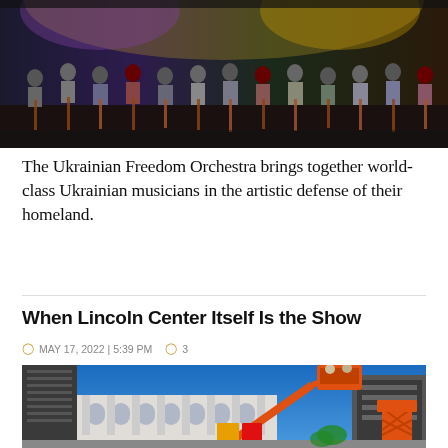[Figure (photo): Orchestra musicians on stage with cellos and string instruments, colorful backdrop lighting]
The Ukrainian Freedom Orchestra brings together world-class Ukrainian musicians in the artistic defense of their homeland.
When Lincoln Center Itself Is the Show
MAY 17, 2022 | 5:39 PM   3
[Figure (photo): Construction workers on scissor lifts and boom lifts outside Lincoln Center building under blue sky]